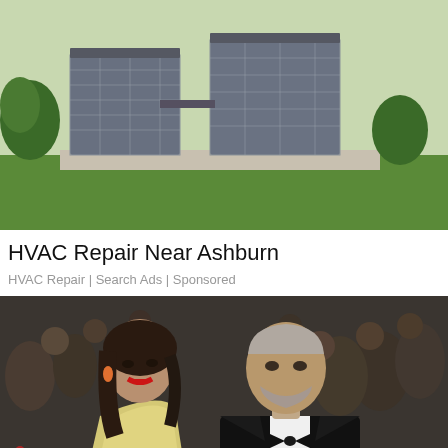[Figure (photo): HVAC air conditioning units outside a house on green grass, with small shrubs and a concrete pad]
HVAC Repair Near Ashburn
HVAC Repair | Search Ads | Sponsored
[Figure (photo): A couple at a red carpet event — a woman in a yellow dress with red lipstick and orange earrings, and a man in a tuxedo with grey hair and a beard, surrounded by photographers]